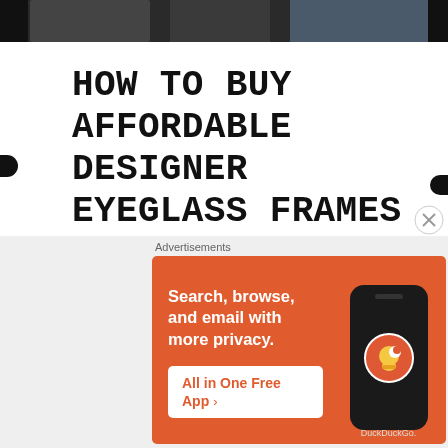[Figure (photo): Photo strip at top of page showing people, partially visible]
HOW TO BUY AFFORDABLE DESIGNER EYEGLASS FRAMES
October 24, 2019
Designer glasses for a cheap girl- it's an art. Paying for glasses is expensive even with insurance. People pay way too much for plastic and screws, but I have a few money-saving
[Figure (infographic): DuckDuckGo advertisement banner with orange background. Text: 'Search, browse, and email with more privacy. All in One Free App'. Shows phone mockup with DuckDuckGo logo.]